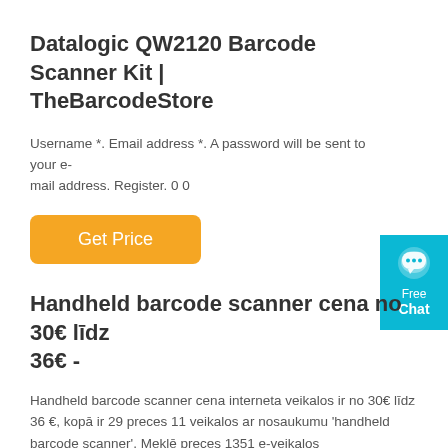Datalogic QW2120 Barcode Scanner Kit | TheBarcodeStore
Username *. Email address *. A password will be sent to your email address. Register. 0 0
[Figure (other): Orange 'Get Price' button]
[Figure (other): Teal 'Free Chat' widget with speech bubble icon, text: Free Chat]
Handheld barcode scanner cena no 30€ līdz 36€ -
Handheld barcode scanner cena interneta veikalos ir no 30€ līdz 36 €, kopā ir 29 preces 11 veikalos ar nosaukumu 'handheld barcode scanner'. Meklē preces 1351 e-veikalos